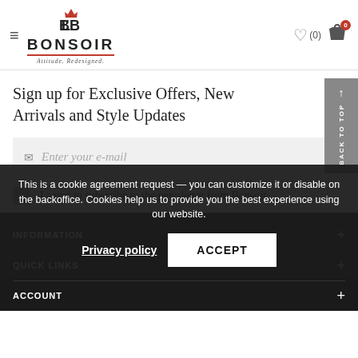BONSOIR — Attitude. Redesigned.
Sign up for Exclusive Offers, New Arrivals and Style Updates
Enter your e-mail
I agree to subscribe to the newsletter from Bonsoir
INFORMATION
QUICK LINKS
ACCOUNT
This is a cookie agreement request — you can customize it or disable on the backoffice. Cookies help us to provide you the best experience using our website.
Privacy policy
ACCEPT